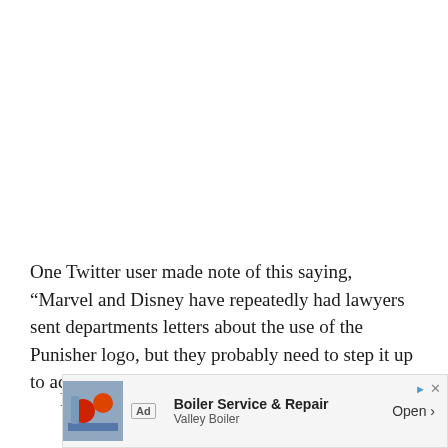One Twitter user made note of this saying, “Marvel and Disney have repeatedly had lawyers sent departments letters about the use of the Punisher logo, but they probably need to step it up to actual lawsuits.”
Marvel and Disney have repeatedly had lawyers sent departments letters about the use of the Punisher logo, but they probably need to step it up to actual lawsuits.
[Figure (other): Advertisement banner: Boiler Service & Repair by Valley Boiler with an Open button]